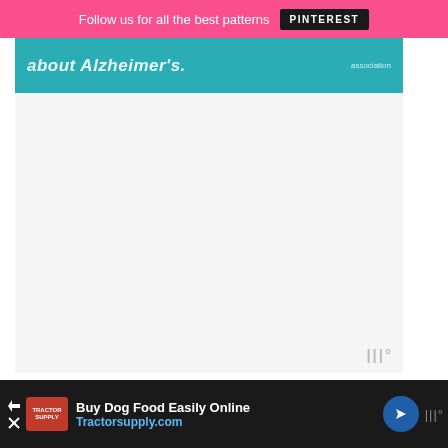Follow us for all the best patterns  PINTEREST
[Figure (screenshot): Teal advertisement banner partially visible, showing text 'about Alzheimer's.' with 'association' logo on the right]
[Figure (screenshot): Large blank white advertisement area with a Wistia watermark icon in the lower right]
WHAT YOU NEED TO MAKE THE HAPPY HANDBAG:-
Two coordinating quilting cotton prints,
Double-Sided Fusible Stabilizer,
Buy Dog Food Easily Online  Tractorsupply.com